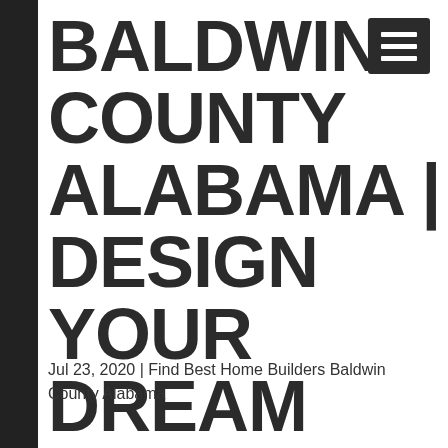BALDWIN COUNTY ALABAMA | DESIGN YOUR DREAM HOME
Jul 23, 2020 | Find Best Home Builders Baldwin County Alabama